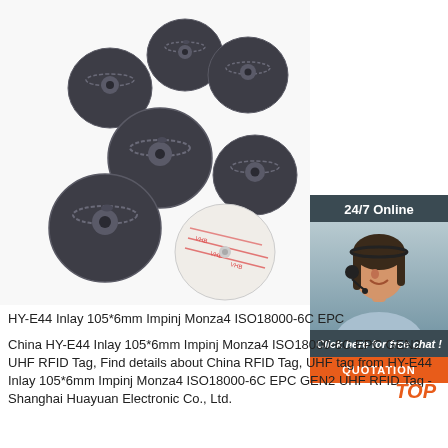[Figure (photo): Product photo showing multiple dark RFID disc tags (HY-E44) and one white disc tag with adhesive backing, arranged on white background]
[Figure (photo): Sidebar with 24/7 Online text, customer service representative with headset, 'Click here for free chat!' text, and orange QUOTATION button]
HY-E44 Inlay 105*6mm Impinj Monza4 ISO18000-6C EPC
China HY-E44 Inlay 105*6mm Impinj Monza4 ISO18000-6C EPC GEN2 UHF RFID Tag, Find details about China RFID Tag, UHF tag from HY-E44 Inlay 105*6mm Impinj Monza4 ISO18000-6C EPC GEN2 UHF RFID Tag - Shanghai Huayuan Electronic Co., Ltd.